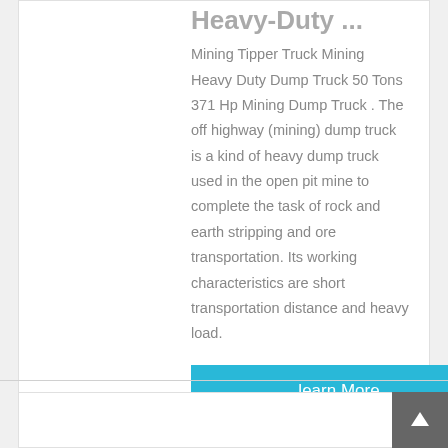Heavy-Duty ...
Mining Tipper Truck Mining Heavy Duty Dump Truck 50 Tons 371 Hp Mining Dump Truck . The off highway (mining) dump truck is a kind of heavy dump truck used in the open pit mine to complete the task of rock and earth stripping and ore transportation. Its working characteristics are short transportation distance and heavy load.
learn More
[Figure (photo): Thumbnail image of a mining/heavy duty vehicle, dark toned photograph]